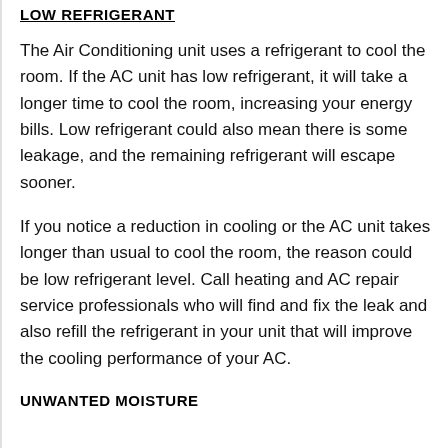LOW REFRIGERANT
The Air Conditioning unit uses a refrigerant to cool the room. If the AC unit has low refrigerant, it will take a longer time to cool the room, increasing your energy bills. Low refrigerant could also mean there is some leakage, and the remaining refrigerant will escape sooner.
If you notice a reduction in cooling or the AC unit takes longer than usual to cool the room, the reason could be low refrigerant level. Call heating and AC repair service professionals who will find and fix the leak and also refill the refrigerant in your unit that will improve the cooling performance of your AC.
UNWANTED MOISTURE